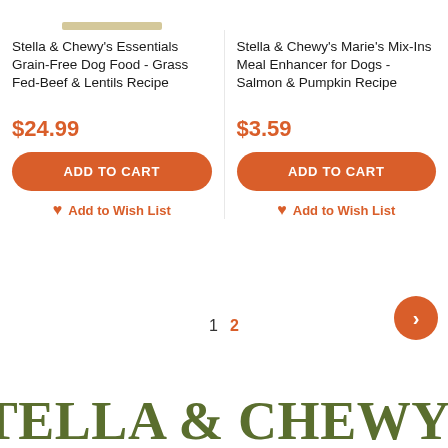[Figure (other): Partial product image placeholder bar for Stella & Chewy's Essentials product]
Stella & Chewy's Essentials Grain-Free Dog Food - Grass Fed-Beef & Lentils Recipe
$24.99
ADD TO CART
Add to Wish List
[Figure (other): Partial product image placeholder for Stella & Chewy's Marie's Mix-Ins product]
Stella & Chewy's Marie's Mix-Ins Meal Enhancer for Dogs - Salmon & Pumpkin Recipe
$3.59
ADD TO CART
Add to Wish List
1  2
STELLA & CHEWY'S